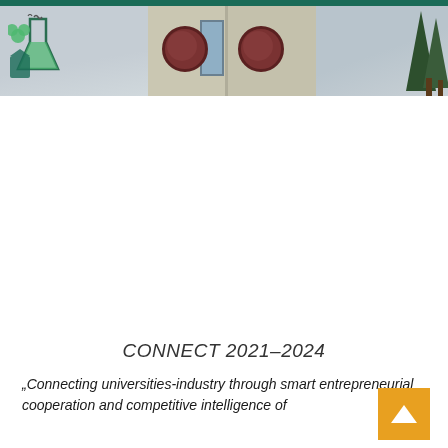[Figure (photo): Header photo showing a university building facade with two circular medallions/bas-reliefs, a central window, flanked by sky and trees. A logo with flask and leaf is visible on the left side.]
CONNECT 2021–2024
„Connecting universities-industry through smart entrepreneurial cooperation and competitive intelligence of